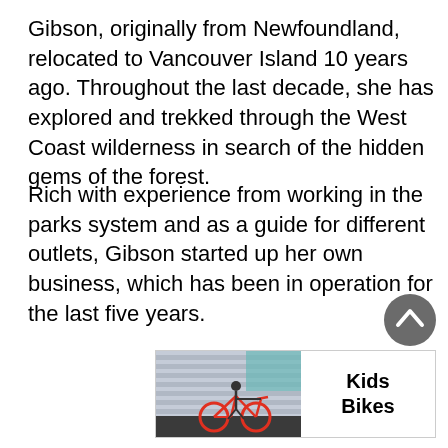Gibson, originally from Newfoundland, relocated to Vancouver Island 10 years ago. Throughout the last decade, she has explored and trekked through the West Coast wilderness in search of the hidden gems of the forest.
Rich with experience from working in the parks system and as a guide for different outlets, Gibson started up her own business, which has been in operation for the last five years.
[Figure (photo): A scroll-to-top button (dark gray circle with upward chevron arrow) positioned at lower right of page.]
[Figure (infographic): Advertisement banner showing a child riding a red bike on the left side (photo), and bold text 'Kids Bikes' on the right side with white background.]